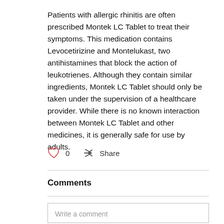Patients with allergic rhinitis are often prescribed Montek LC Tablet to treat their symptoms. This medication contains Levocetirizine and Montelukast, two antihistamines that block the action of leukotrienes. Although they contain similar ingredients, Montek LC Tablet should only be taken under the supervision of a healthcare provider. While there is no known interaction between Montek LC Tablet and other medicines, it is generally safe for use by adults.
Comments